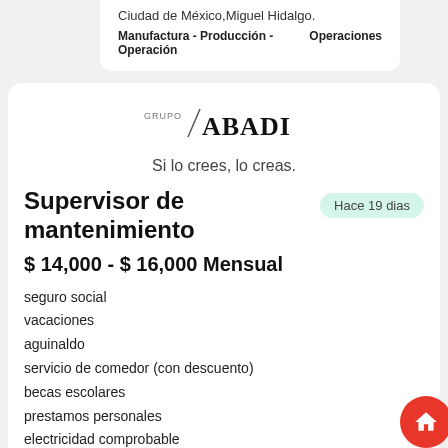Ciudad de México,Miguel Hidalgo.
Manufactura - Producción - Operación    Operaciones
[Figure (logo): Grupo Abadi logo with diagonal slash and brand name]
Si lo crees, lo creas.
Supervisor de mantenimiento
Hace 19 dias
$ 14,000 - $ 16,000 Mensual
seguro social
vacaciones
aguinaldo
servicio de comedor (con descuento)
becas escolares
prestamos personales
electricidad comprobable